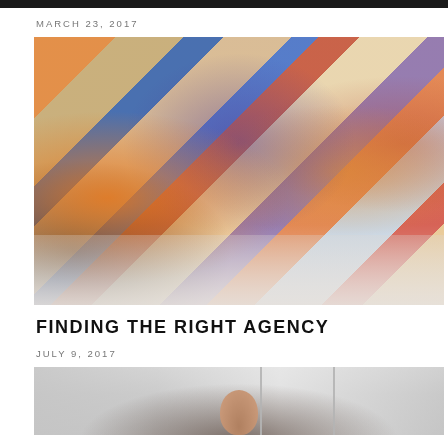MARCH 23, 2017
[Figure (photo): Fashion runway photo showing models walking in colorful, artistic patterned clothing with an audience seated on the sides]
FINDING THE RIGHT AGENCY
JULY 9, 2017
[Figure (photo): Partial photo showing a person from behind in what appears to be an office or studio setting with glass partitions]